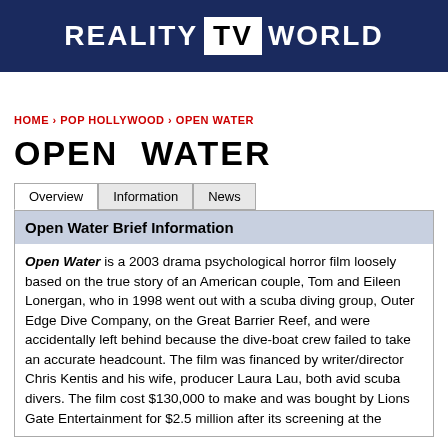REALITY TV WORLD
HOME > POP HOLLYWOOD > OPEN WATER
OPEN WATER
Overview | Information | News
Open Water Brief Information
Open Water is a 2003 drama psychological horror film loosely based on the true story of an American couple, Tom and Eileen Lonergan, who in 1998 went out with a scuba diving group, Outer Edge Dive Company, on the Great Barrier Reef, and were accidentally left behind because the dive-boat crew failed to take an accurate headcount. The film was financed by writer/director Chris Kentis and his wife, producer Laura Lau, both avid scuba divers. The film cost $130,000 to make and was bought by Lions Gate Entertainment for $2.5 million after its screening at the